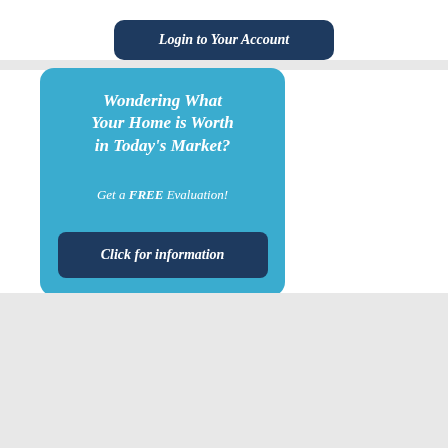[Figure (other): Login to Your Account button (dark blue rounded rectangle with italic white text)]
[Figure (infographic): Blue rounded rectangle widget with text: 'Wondering What Your Home is Worth in Today's Market? Get a FREE Evaluation!' and a dark blue 'Click for information' button.]